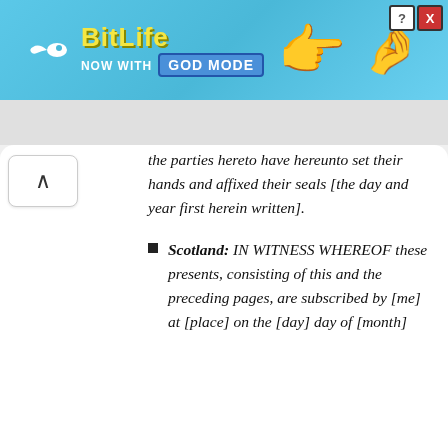[Figure (screenshot): BitLife game advertisement banner: blue background with BitLife logo in yellow, 'NOW WITH GOD MODE' text, hand pointing emoji graphics, and close/help buttons in top right corner.]
the parties hereto have hereunto set their hands and affixed their seals [the day and year first herein written].
Scotland: IN WITNESS WHEREOF these presents, consisting of this and the preceding pages, are subscribed by [me] at [place] on the [day] day of [month]